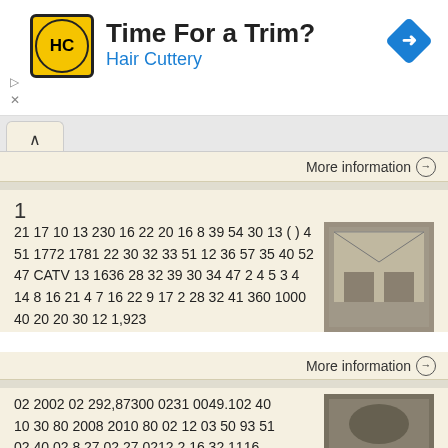[Figure (screenshot): Advertisement banner: Hair Cuttery ad with logo, 'Time For a Trim?' headline, blue 'Hair Cuttery' subtext, and blue navigation arrow icon on right. Play and X controls at bottom left.]
More information →
1
21 17 10 13 230 16 22 20 16 8 39 54 30 13 ( ) 4 51 1772 1781 22 30 32 33 51 12 36 57 35 40 52 47 CATV 13 1636 28 32 39 30 34 47 2 4 5 3 4 14 8 16 21 4 7 16 22 9 17 2 28 32 41 360 1000 40 20 20 30 12 1,923
[Figure (photo): Thumbnail photo of an indoor architectural scene, appears to be a museum or gallery interior with glass ceiling.]
More information →
02 2002 02 292,87300 0231 0049.102 40 10 30 80 2008 2010 80 02 12 03 50 93 51 02 40 02 8.27 02 27 0212 2.16 32 1116
[Figure (photo): Thumbnail photo of a car engine or mechanical work being done.]